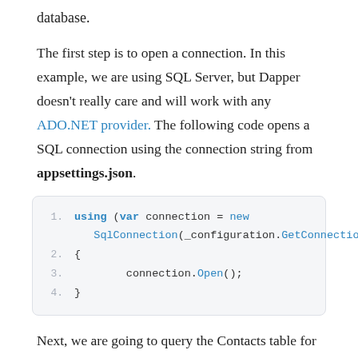database.
The first step is to open a connection. In this example, we are using SQL Server, but Dapper doesn't really care and will work with any ADO.NET provider. The following code opens a SQL connection using the connection string from appsettings.json.
[Figure (screenshot): Code block showing: using (var connection = new SqlConnection(_configuration.GetConnectionSt { connection.Open(); }]
Next, we are going to query the Contacts table for the ID of a specific contact.
[Figure (screenshot): Code block showing: if (connection.QueryFirstOrDefault<int?>(@"SELECT Id ...]